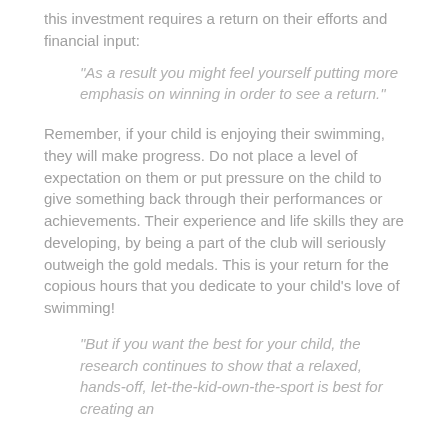this investment requires a return on their efforts and financial input:
“As a result you might feel yourself putting more emphasis on winning in order to see a return.”
Remember, if your child is enjoying their swimming, they will make progress. Do not place a level of expectation on them or put pressure on the child to give something back through their performances or achievements. Their experience and life skills they are developing, by being a part of the club will seriously outweigh the gold medals. This is your return for the copious hours that you dedicate to your child’s love of swimming!
“But if you want the best for your child, the research continues to show that a relaxed, hands-off, let-the-kid-own-the-sport is best for creating an